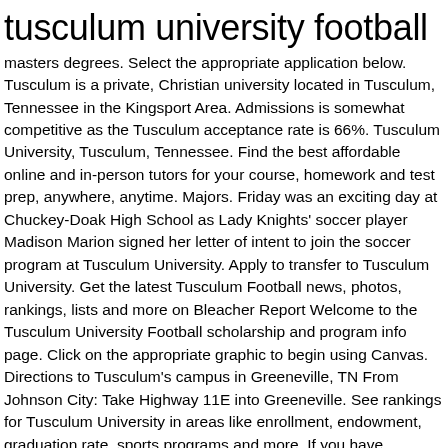tusculum university football
masters degrees. Select the appropriate application below. Tusculum is a private, Christian university located in Tusculum, Tennessee in the Kingsport Area. Admissions is somewhat competitive as the Tusculum acceptance rate is 66%. Tusculum University, Tusculum, Tennessee. Find the best affordable online and in-person tutors for your course, homework and test prep, anywhere, anytime. Majors. Friday was an exciting day at Chuckey-Doak High School as Lady Knights' soccer player Madison Marion signed her letter of intent to join the soccer program at Tusculum University. Apply to transfer to Tusculum University. Get the latest Tusculum Football news, photos, rankings, lists and more on Bleacher Report Welcome to the Tusculum University Football scholarship and program info page. Click on the appropriate graphic to begin using Canvas. Directions to Tusculum's campus in Greeneville, TN From Johnson City: Take Highway 11E into Greeneville. See rankings for Tusculum University in areas like enrollment, endowment, graduation rate, sports programs and more. If you have questions, please call us at 423-636-7312 or 423-636-7339 or email admissions@tusculum.edu Read the … Contact the Southern Association of Colleges and Schools Commission on Colleges at 1866